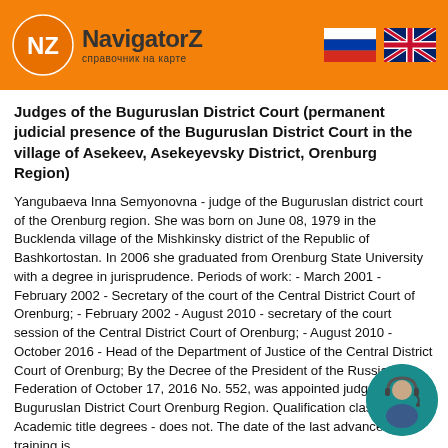[Figure (logo): NavigatorZ logo with orange NZ circle emblem, text 'NavigatorZ' and subtitle 'справочник на карте', with Russian and UK flag icons on the right]
Judges of the Buguruslan District Court (permanent judicial presence of the Buguruslan District Court in the village of Asekeev, Asekeyevsky District, Orenburg Region)
Yangubaeva Inna Semyonovna - judge of the Buguruslan district court of the Orenburg region. She was born on June 08, 1979 in the Bucklenda village of the Mishkinsky district of the Republic of Bashkortostan. In 2006 she graduated from Orenburg State University with a degree in jurisprudence. Periods of work: - March 2001 - February 2002 - Secretary of the court of the Central District Court of Orenburg; - February 2002 - August 2010 - secretary of the court session of the Central District Court of Orenburg; - August 2010 - October 2016 - Head of the Department of Justice of the Central District Court of Orenburg; By the Decree of the President of the Russian Federation of October 17, 2016 No. 552, was appointed judge of the Buguruslan District Court Orenburg Region. Qualification class - 7. Academic title degrees - does not. The date of the last advanced training is
[Figure (photo): Chat support avatar showing a man with headset, circular teal/dark teal background, positioned bottom right]